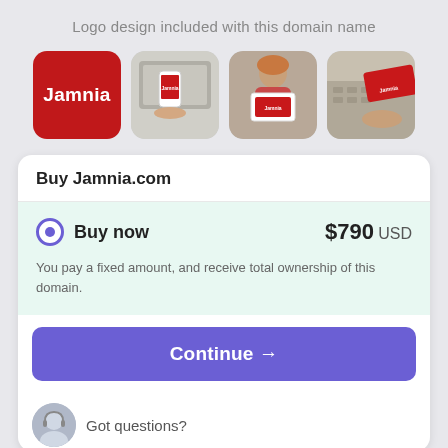Logo design included with this domain name
[Figure (illustration): Four logo mockup images: a red rounded square with Jamnia text, a phone mockup, a woman holding a sign with Jamnia, and a business card with Jamnia]
Buy Jamnia.com
Buy now   $790 USD
You pay a fixed amount, and receive total ownership of this domain.
Continue →
Got questions?